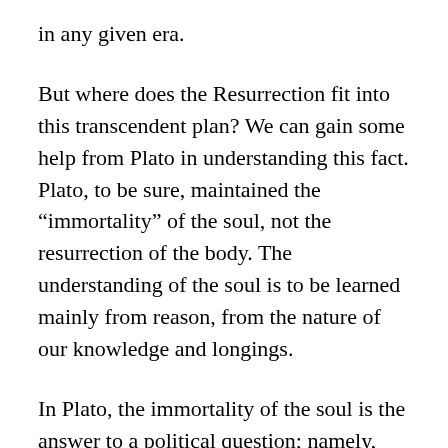in any given era.
But where does the Resurrection fit into this transcendent plan? We can gain some help from Plato in understanding this fact. Plato, to be sure, maintained the “immortality” of the soul, not the resurrection of the body. The understanding of the soul is to be learned mainly from reason, from the nature of our knowledge and longings.
In Plato, the immortality of the soul is the answer to a political question; namely, since not all crimes are punished and not all good deeds are rewarded, it must mean the world is created in injustice. The only way to maintain that the world is made in justice is to suppose, as Plato did, in judgment after